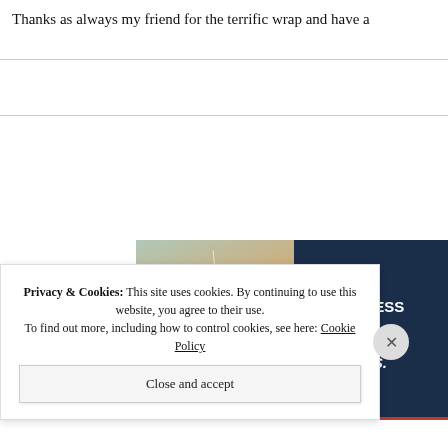Thanks as always my friend for the terrific wrap and have a
[Figure (photo): Advertisement banner for WordPress Hosting. Left half shows a smiling woman holding an OPEN sign in a shop window. Right half has dark navy background with large 'P' logo in white, text reading 'WORDPRESS HOSTING THAT MEANS BUSINESS.' in white bold/italic, and a 'LEARN MORE' button outlined in white.]
Privacy & Cookies: This site uses cookies. By continuing to use this website, you agree to their use. To find out more, including how to control cookies, see here: Cookie Policy
Close and accept